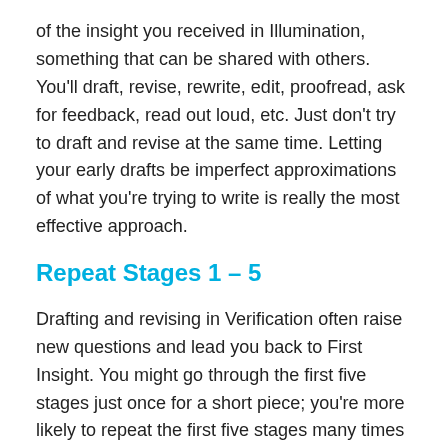of the insight you received in Illumination, something that can be shared with others. You'll draft, revise, rewrite, edit, proofread, ask for feedback, read out loud, etc. Just don't try to draft and revise at the same time. Letting your early drafts be imperfect approximations of what you're trying to write is really the most effective approach.
Repeat Stages 1 – 5
Drafting and revising in Verification often raise new questions and lead you back to First Insight. You might go through the first five stages just once for a short piece; you're more likely to repeat the first five stages many times to complete a large writing project.
Sometimes after completing a writing project, you move into a kind of limbo where you're not sure what to work on